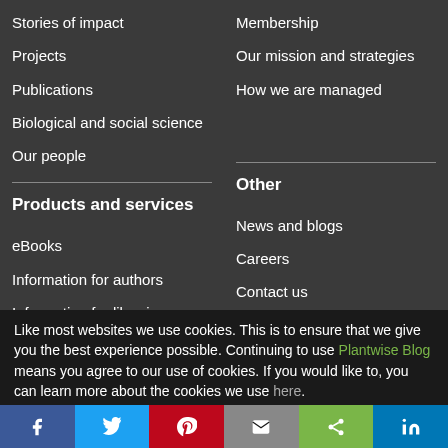Stories of impact
Membership
Projects
Our mission and strategies
Publications
How we are managed
Biological and social science
Our people
Products and services
Other
eBooks
News and blogs
Information for authors
Careers
Information for librarians
Contact us
Like most websites we use cookies. This is to ensure that we give you the best experience possible. Continuing to use Plantwise Blog means you agree to our use of cookies. If you would like to, you can learn more about the cookies we use here.